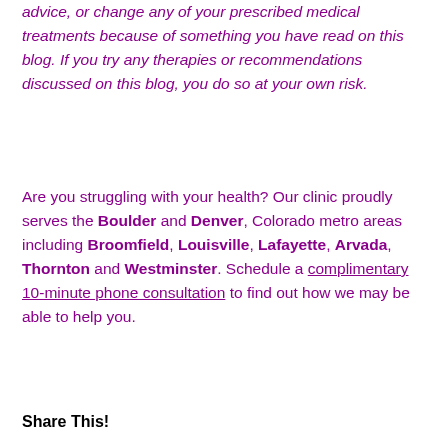advice, or change any of your prescribed medical treatments because of something you have read on this blog. If you try any therapies or recommendations discussed on this blog, you do so at your own risk.
Are you struggling with your health? Our clinic proudly serves the Boulder and Denver, Colorado metro areas including Broomfield, Louisville, Lafayette, Arvada, Thornton and Westminster. Schedule a complimentary 10-minute phone consultation to find out how we may be able to help you.
Share This!